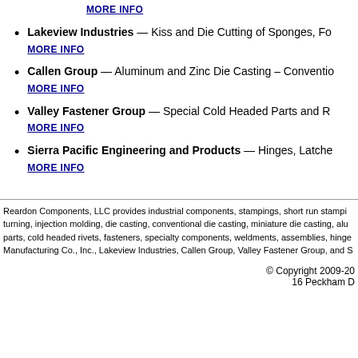MORE INFO (top link)
Lakeview Industries — Kiss and Die Cutting of Sponges, Fo... MORE INFO
Callen Group — Aluminum and Zinc Die Casting – Conventio... MORE INFO
Valley Fastener Group — Special Cold Headed Parts and R... MORE INFO
Sierra Pacific Engineering and Products — Hinges, Latche... MORE INFO
Reardon Components, LLC provides industrial components, stampings, short run stampi... turning, injection molding, die casting, conventional die casting, miniature die casting, alu... parts, cold headed rivets, fasteners, specialty components, weldments, assemblies, hinge... Manufacturing Co., Inc., Lakeview Industries, Callen Group, Valley Fastener Group, and S...
© Copyright 2009-20... 16 Peckham D...